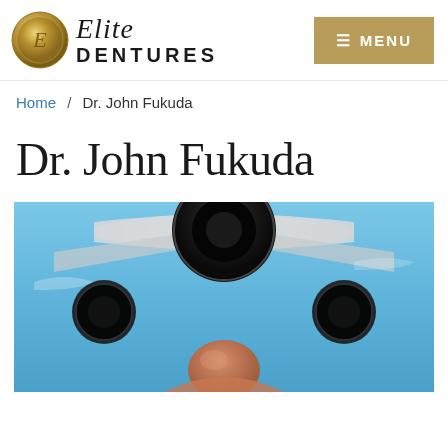Elite Dentures — MENU
Home / Dr. John Fukuda
Dr. John Fukuda
[Figure (photo): Photo of Dr. John Fukuda standing in front of a jet aircraft against a blue sky. A bald man visible from mid-torso up, with a large jet engine visible above him.]